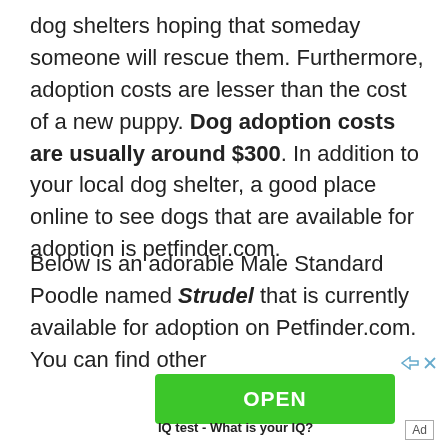dog shelters hoping that someday someone will rescue them. Furthermore, adoption costs are lesser than the cost of a new puppy. Dog adoption costs are usually around $300. In addition to your local dog shelter, a good place online to see dogs that are available for adoption is petfinder.com.
Below is an adorable Male Standard Poodle named Strudel that is currently available for adoption on Petfinder.com. You can find other
[Figure (other): Green OPEN button advertisement with ad controls (skip/close arrows) and label 'IQ test - What is your IQ?']
Ad